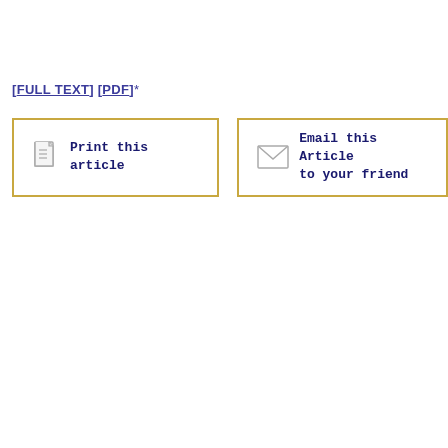[FULL TEXT] [PDF]*
[Figure (other): Print this article button with document icon, bordered in gold/yellow]
[Figure (other): Email this Article to your friend button with envelope icon, bordered in gold/yellow]